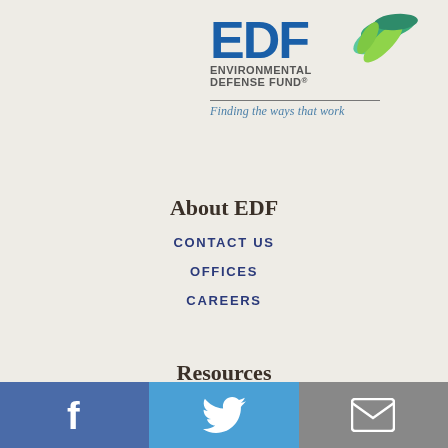[Figure (logo): Environmental Defense Fund logo with stylized leaf/wave graphic, 'ENVIRONMENTAL DEFENSE FUND®' text, divider line, and italic tagline 'Finding the ways that work']
About EDF
CONTACT US
OFFICES
CAREERS
Resources
BLOGS
REPORTS AND PUBLICATIONS
FOR THE MEDIA
[Figure (infographic): Social media button bar with three sections: Facebook (blue), Twitter (light blue), Email (grey), each showing respective icons]